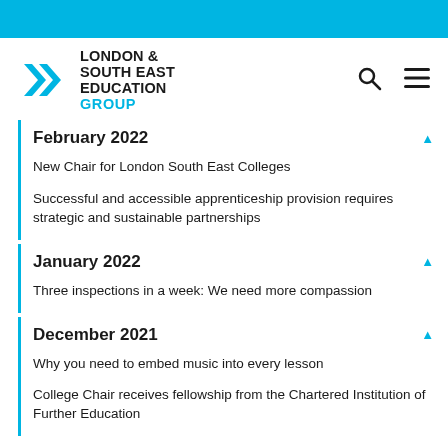[Figure (logo): London & South East Education Group logo with cyan chevrons and text]
February 2022
New Chair for London South East Colleges
Successful and accessible apprenticeship provision requires strategic and sustainable partnerships
January 2022
Three inspections in a week: We need more compassion
December 2021
Why you need to embed music into every lesson
College Chair receives fellowship from the Chartered Institution of Further Education